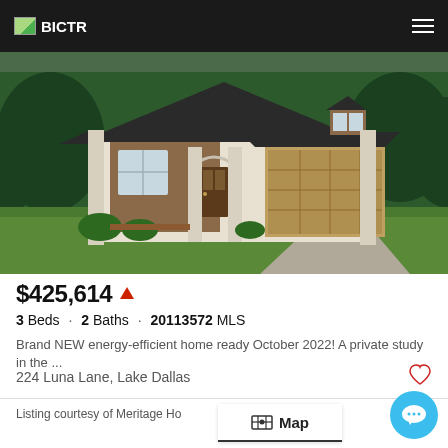BICTR
[Figure (photo): Exterior rendering of a new construction single-story home with stone and wood facade, dark grey roof, two-car garage, green landscaping]
$425,614
3 Beds · 2 Baths · 20113572 MLS
Brand NEW energy-efficient home ready October 2022! A private study in the ...
224 Luna Lane, Lake Dallas
Listing courtesy of Meritage Ho
Map